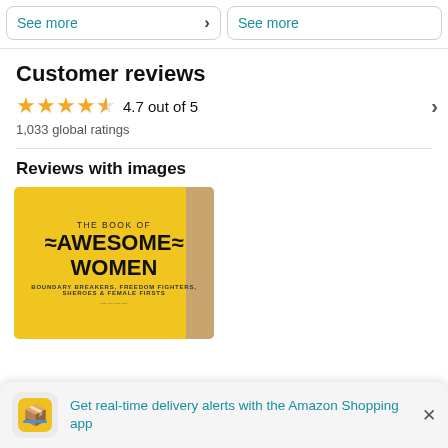See more
See more
Customer reviews
4.7 out of 5
1,033 global ratings
Reviews with images
[Figure (photo): Book cover of 'The Book of Awesome Women: Boundary Breakers, Freedom Fighters, Sheroes & Female Firsts']
Get real-time delivery alerts with the Amazon Shopping app